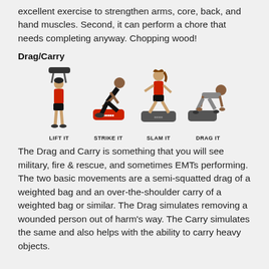excellent exercise to strengthen arms, core, back, and hand muscles. Second, it can perform a chore that needs completing anyway. Chopping wood!
Drag/Carry
[Figure (photo): Four fitness exercise positions with a sandbag: LIFT IT (woman lifting sandbag overhead), STRIKE IT (man kneeling and striking bag), SLAM IT (woman standing on bag), DRAG IT (man dragging bag on all fours)]
The Drag and Carry is something that you will see military, fire & rescue, and sometimes EMTs performing. The two basic movements are a semi-squatted drag of a weighted bag and an over-the-shoulder carry of a weighted bag or similar. The Drag simulates removing a wounded person out of harm's way. The Carry simulates the same and also helps with the ability to carry heavy objects.